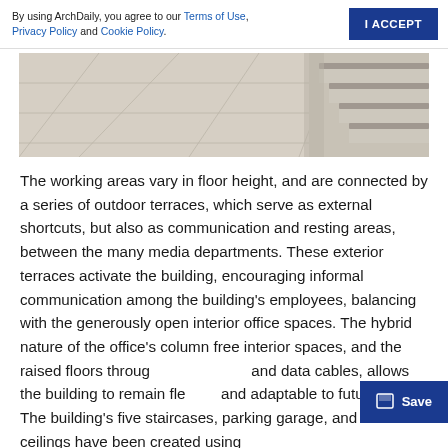By using ArchDaily, you agree to our Terms of Use, Privacy Policy and Cookie Policy.
[Figure (photo): Close-up photograph of light-colored stone or concrete floor tiles with steps/stairs visible in the background]
The working areas vary in floor height, and are connected by a series of outdoor terraces, which serve as external shortcuts, but also as communication and resting areas, between the many media departments. These exterior terraces activate the building, encouraging informal communication among the building's employees, balancing with the generously open interior office spaces. The hybrid nature of the office's column free interior spaces, and the raised floors through and data cables, allows the building to remain flexible and adaptable to future uses. The building's five staircases, parking garage, and most ceilings have been created using